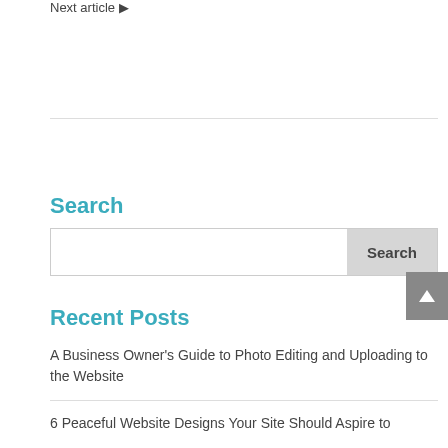Next article ▶
Search
[Figure (other): Search input box with Search button]
Recent Posts
A Business Owner's Guide to Photo Editing and Uploading to the Website
6 Peaceful Website Designs Your Site Should Aspire to